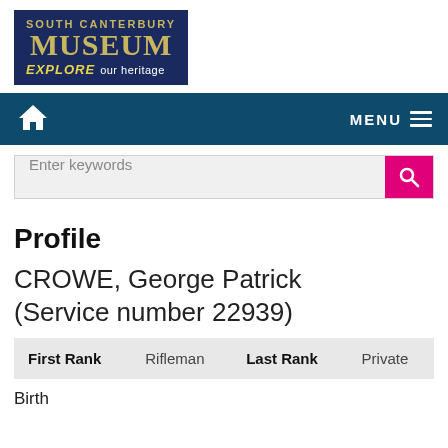[Figure (logo): South Canterbury Museum logo — dark blue box with 'SOUTH CANTERBURY' text, large 'MUSEUM' text, and 'EXPLORE our heritage' tagline]
MENU navigation bar with home icon
Enter keywords
Profile
CROWE, George Patrick (Service number 22939)
| First Rank |  | Last Rank |  |
| --- | --- | --- | --- |
| First Rank | Rifleman | Last Rank | Private |
Birth